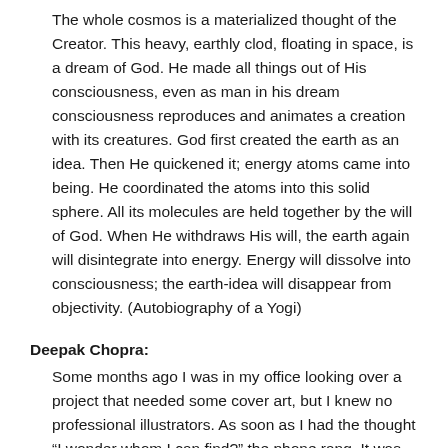The whole cosmos is a materialized thought of the Creator. This heavy, earthly clod, floating in space, is a dream of God. He made all things out of His consciousness, even as man in his dream consciousness reproduces and animates a creation with its creatures. God first created the earth as an idea. Then He quickened it; energy atoms came into being. He coordinated the atoms into this solid sphere. All its molecules are held together by the will of God. When He withdraws His will, the earth again will disintegrate into energy. Energy will dissolve into consciousness; the earth-idea will disappear from objectivity. (Autobiography of a Yogi)
Deepak Chopra:
Some months ago I was in my office looking over a project that needed some cover art, but I knew no professional illustrators. As soon as I had the thought “I wonder whom I can find?” the phone rang. It was my grown daughter, Mallika, calling